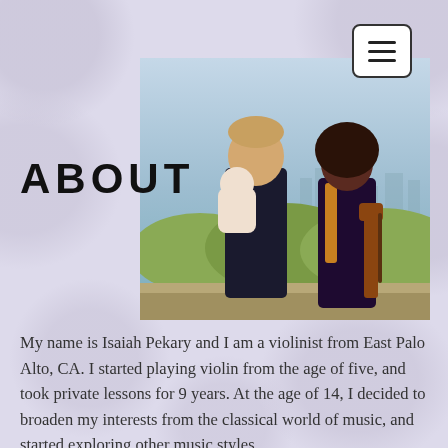[Figure (photo): Hamburger menu icon button with three horizontal bars, white background with dark border, rounded corners, positioned top right]
ABOUT
[Figure (photo): Family photo of a man holding a baby and a woman holding a violin, standing outdoors with a city skyline and green hedges in the background]
My name is Isaiah Pekary and I am a violinist from East Palo Alto, CA. I started playing violin from the age of five, and took private lessons for 9 years. At the age of 14, I decided to broaden my interests from the classical world of music, and started exploring other music styles